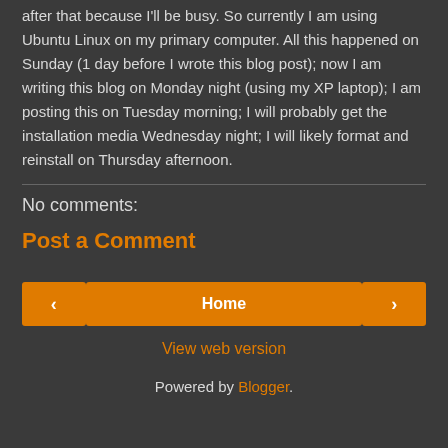after that because I'll be busy. So currently I am using Ubuntu Linux on my primary computer. All this happened on Sunday (1 day before I wrote this blog post); now I am writing this blog on Monday night (using my XP laptop); I am posting this on Tuesday morning; I will probably get the installation media Wednesday night; I will likely format and reinstall on Thursday afternoon.
No comments:
Post a Comment
[Figure (other): Navigation buttons: left arrow, Home, right arrow]
View web version
Powered by Blogger.